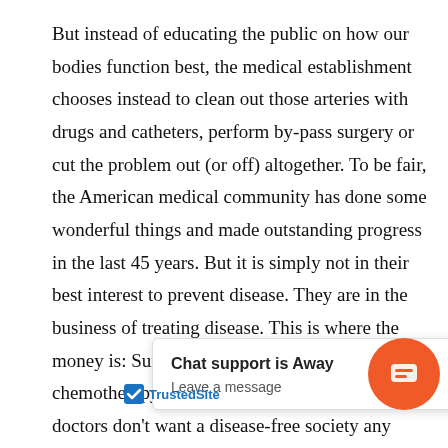But instead of educating the public on how our bodies function best, the medical establishment chooses instead to clean out those arteries with drugs and catheters, perform by-pass surgery or cut the problem out (or off) altogether. To be fair, the American medical community has done some wonderful things and made outstanding progress in the last 45 years. But it is simply not in their best interest to prevent disease. They are in the business of treating disease. This is where the money is: Surgery, MRI, radiation, chemotherapy, research and examinations. The doctors don't want a disease-free society any more than lawyers want a perfectly honest one.

This booklet is intend... vie... conventional medicin... lise... to pro... ion in healthy people and educate
[Figure (other): Chat support popup overlay reading 'Chat support is Away' / 'Leave a message', with an orange chat bubble icon on the right side and a TrustedSite badge in the lower left]